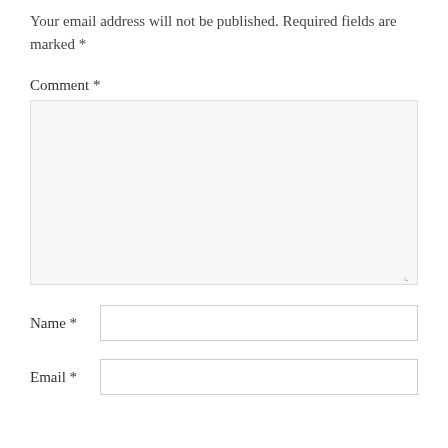Your email address will not be published. Required fields are marked *
Comment *
[Figure (other): Empty comment textarea with resize handle in bottom right corner]
Name *
[Figure (other): Empty name input field]
Email *
[Figure (other): Empty email input field (partially visible)]